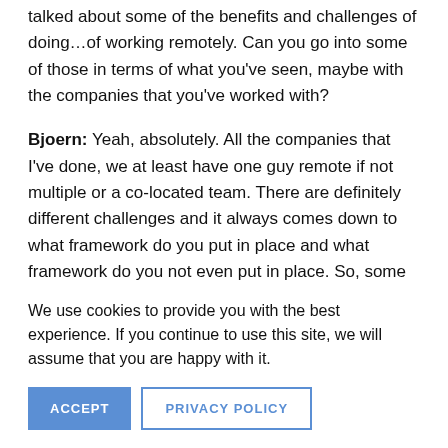talked about some of the benefits and challenges of doing…of working remotely. Can you go into some of those in terms of what you've seen, maybe with the companies that you've worked with?
Bjoern: Yeah, absolutely. All the companies that I've done, we at least have one guy remote if not multiple or a co-located team. There are definitely different challenges and it always comes down to what framework do you put in place and what framework do you not even put in place. So, some companies, they approach the problem of hiring by…
We use cookies to provide you with the best experience. If you continue to use this site, we will assume that you are happy with it.
ACCEPT
PRIVACY POLICY